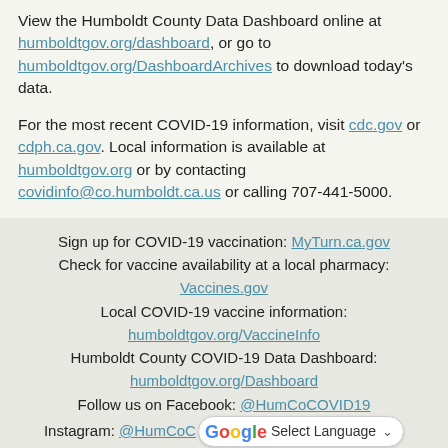View the Humboldt County Data Dashboard online at humboldtgov.org/dashboard, or go to humboldtgov.org/DashboardArchives to download today's data.
For the most recent COVID-19 information, visit cdc.gov or cdph.ca.gov. Local information is available at humboldtgov.org or by contacting covidinfo@co.humboldt.ca.us or calling 707-441-5000.
Sign up for COVID-19 vaccination: MyTurn.ca.gov
Check for vaccine availability at a local pharmacy:
Vaccines.gov
Local COVID-19 vaccine information:
humboldtgov.org/VaccineInfo
Humboldt County COVID-19 Data Dashboard:
humboldtgov.org/Dashboard
Follow us on Facebook: @HumCoCOVID19
Instagram: @HumCoCOVID19
Twitter: @HumCoCOVID19